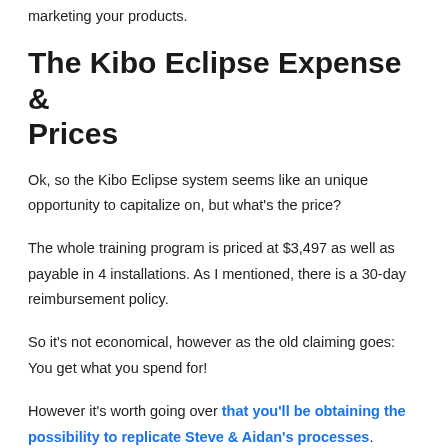marketing your products.
The Kibo Eclipse Expense & Prices
Ok, so the Kibo Eclipse system seems like an unique opportunity to capitalize on, but what's the price?
The whole training program is priced at $3,497 as well as payable in 4 installations. As I mentioned, there is a 30-day reimbursement policy.
So it's not economical, however as the old claiming goes: You get what you spend for!
However it's worth going over that you'll be obtaining the possibility to replicate Steve & Aidan's processes.
Steve & Aidan (the developers of the Kibo Eclipse), are one of the